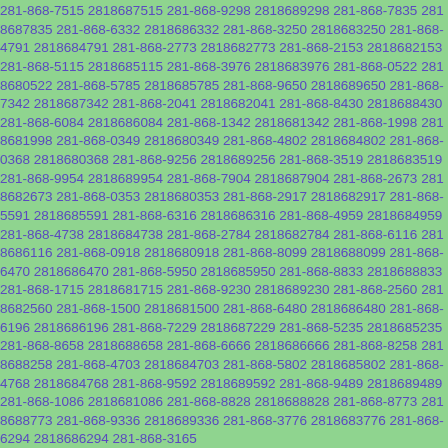281-868-7515 2818687515 281-868-9298 2818689298 281-868-7835 2818687835 281-868-6332 2818686332 281-868-3250 2818683250 281-868-4791 2818684791 281-868-2773 2818682773 281-868-2153 2818682153 281-868-5115 2818685115 281-868-3976 2818683976 281-868-0522 2818680522 281-868-5785 2818685785 281-868-9650 2818689650 281-868-7342 2818687342 281-868-2041 2818682041 281-868-8430 2818688430 281-868-6084 2818686084 281-868-1342 2818681342 281-868-1998 2818681998 281-868-0349 2818680349 281-868-4802 2818684802 281-868-0368 2818680368 281-868-9256 2818689256 281-868-3519 2818683519 281-868-9954 2818689954 281-868-7904 2818687904 281-868-2673 2818682673 281-868-0353 2818680353 281-868-2917 2818682917 281-868-5591 2818685591 281-868-6316 2818686316 281-868-4959 2818684959 281-868-4738 2818684738 281-868-2784 2818682784 281-868-6116 2818686116 281-868-0918 2818680918 281-868-8099 2818688099 281-868-6470 2818686470 281-868-5950 2818685950 281-868-8833 2818688833 281-868-1715 2818681715 281-868-9230 2818689230 281-868-2560 2818682560 281-868-1500 2818681500 281-868-6480 2818686480 281-868-6196 2818686196 281-868-7229 2818687229 281-868-5235 2818685235 281-868-8658 2818688658 281-868-6666 2818686666 281-868-8258 2818688258 281-868-4703 2818684703 281-868-5802 2818685802 281-868-4768 2818684768 281-868-9592 2818689592 281-868-9489 2818689489 281-868-1086 2818681086 281-868-8828 2818688828 281-868-8773 2818688773 281-868-9336 2818689336 281-868-3776 2818683776 281-868-6294 2818686294 281-868-3165